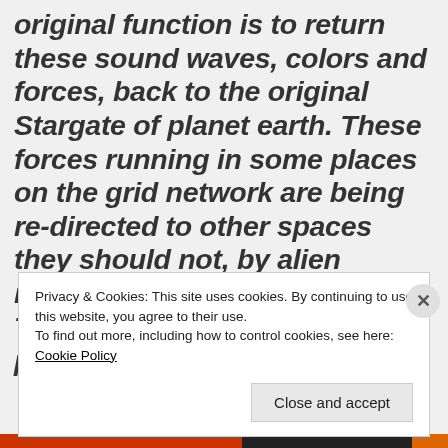original function is to return these sound waves, colors and forces, back to the original Stargate of planet earth. These forces running in some places on the grid network are being re-directed to other spaces they should not, by alien machinery or grid damage. This is causing an array of problems on the earth
Privacy & Cookies: This site uses cookies. By continuing to use this website, you agree to their use.
To find out more, including how to control cookies, see here: Cookie Policy